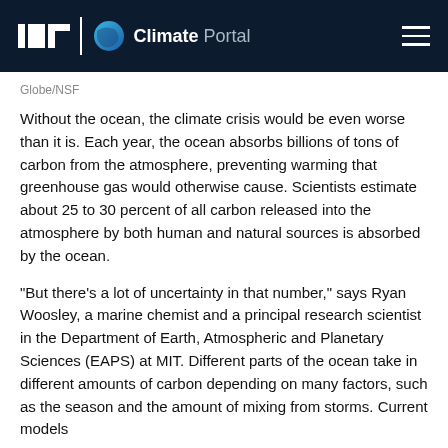MIT Climate Portal
Globe/NSF
Without the ocean, the climate crisis would be even worse than it is. Each year, the ocean absorbs billions of tons of carbon from the atmosphere, preventing warming that greenhouse gas would otherwise cause. Scientists estimate about 25 to 30 percent of all carbon released into the atmosphere by both human and natural sources is absorbed by the ocean.
“But there’s a lot of uncertainty in that number,” says Ryan Woosley, a marine chemist and a principal research scientist in the Department of Earth, Atmospheric and Planetary Sciences (EAPS) at MIT. Different parts of the ocean take in different amounts of carbon depending on many factors, such as the season and the amount of mixing from storms. Current models